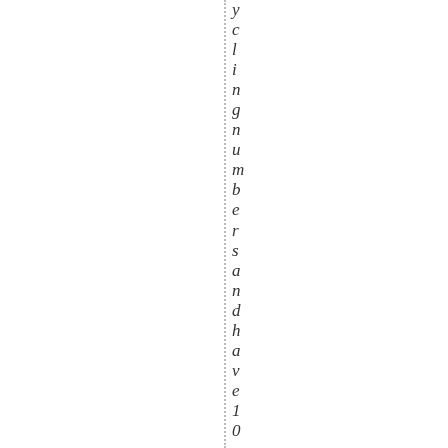yclingnumbersandhave10percento